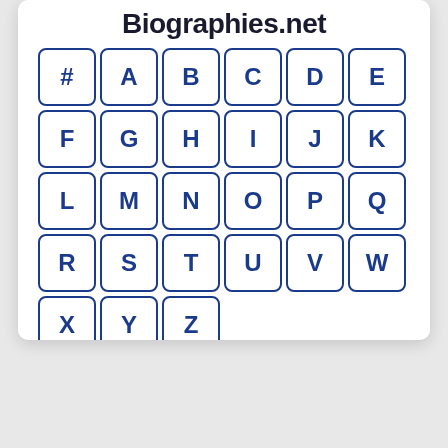Biographies.net
[Figure (other): Alphabetical navigation grid with letter buttons: #, A-Z arranged in rows of 6, with the last row containing X, Y, Z only. Each letter is displayed in a rounded square button with dark blue border and text on white background.]